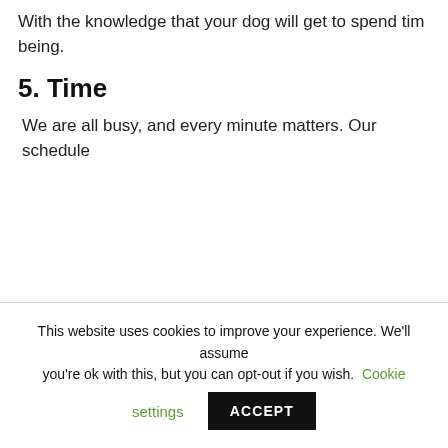With the knowledge that your dog will get to spend tim being.
5. Time
We are all busy, and every minute matters. Our schedule
This website uses cookies to improve your experience. We'll assume you're ok with this, but you can opt-out if you wish. Cookie settings ACCEPT